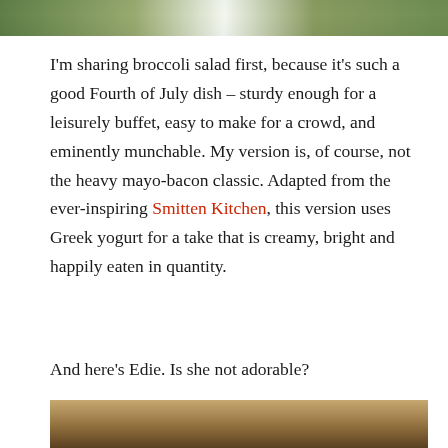[Figure (photo): Top portion of a food photo showing broccoli salad on a plate, cropped at the top of the page]
I'm sharing broccoli salad first, because it's such a good Fourth of July dish – sturdy enough for a leisurely buffet, easy to make for a crowd, and eminently munchable. My version is, of course, not the heavy mayo-bacon classic. Adapted from the ever-inspiring Smitten Kitchen, this version uses Greek yogurt for a take that is creamy, bright and happily eaten in quantity.
And here's Edie. Is she not adorable?
[Figure (photo): Bottom portion of a photo showing what appears to be a rustic indoor scene, partially cropped at the bottom of the page]